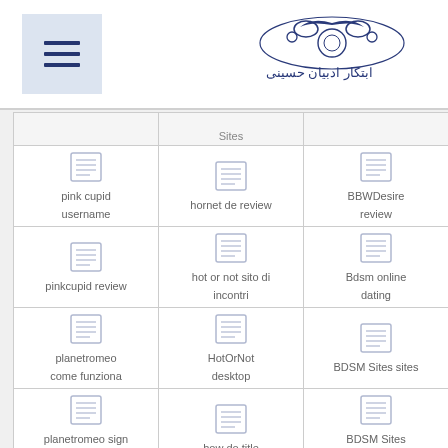[Figure (logo): Hamburger menu icon (three horizontal lines) in a light blue square, and a Persian/Arabic decorative logo with floral motifs and text on the right]
|  | Sites |  |
| --- | --- | --- |
| pink cupid username | hornet de review | BBWDesire review |
| pinkcupid review | hot or not sito di incontri | Bdsm online dating |
| planetromeo come funziona | HotOrNot desktop | BDSM Sites sites |
| planetromeo sign in | how do title | BDSM Sites visitors |